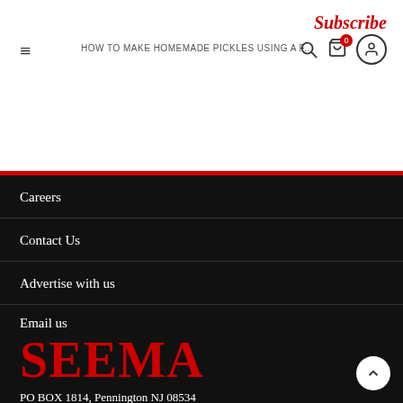Subscribe
HOW TO MAKE HOMEMADE PICKLES USING A F...
Careers
Contact Us
Advertise with us
Email us
[Figure (logo): SEEMA logo in large red serif text]
PO BOX 1814, Pennington NJ 08534
info@seema.com | advertise@seema.com